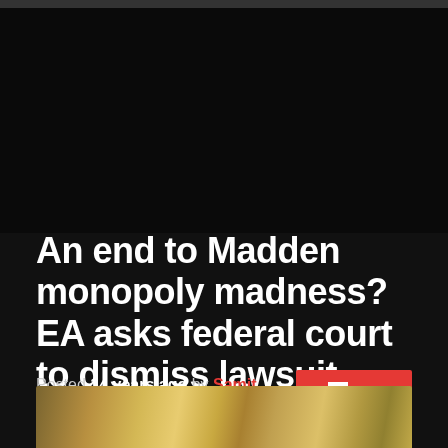An end to Madden monopoly madness? EA asks federal court to dismiss lawsuit
Posted 14 years ago by Samit Sarkar  13
[Figure (photo): Photo of currency/money bills visible at the bottom of the page]